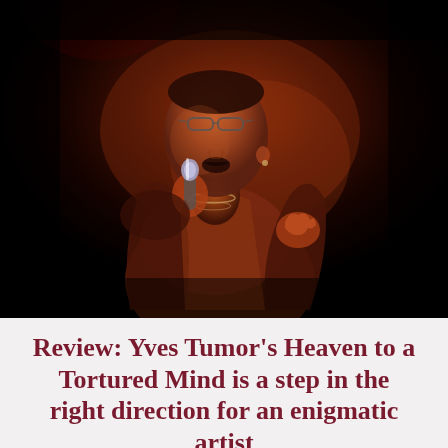[Figure (photo): A performer singing into a microphone on stage against a dark background, lit with warm orange and red stage lighting. The subject is looking upward with one hand raised, wearing a jacket and necklaces.]
Review: Yves Tumor's Heaven to a Tortured Mind is a step in the right direction for an enigmatic artist